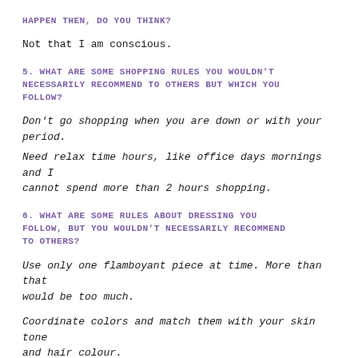HAPPEN THEN, DO YOU THINK?
Not that I am conscious.
5. WHAT ARE SOME SHOPPING RULES YOU WOULDN'T NECESSARILY RECOMMEND TO OTHERS BUT WHICH YOU FOLLOW?
Don't go shopping when you are down or with your period.
Need relax time hours, like office days mornings and I cannot spend more than 2 hours shopping.
6. WHAT ARE SOME RULES ABOUT DRESSING YOU FOLLOW, BUT YOU WOULDN'T NECESSARILY RECOMMEND TO OTHERS?
Use only one flamboyant piece at time. More than that would be too much.
Coordinate colors and match them with your skin tone and hair colour.